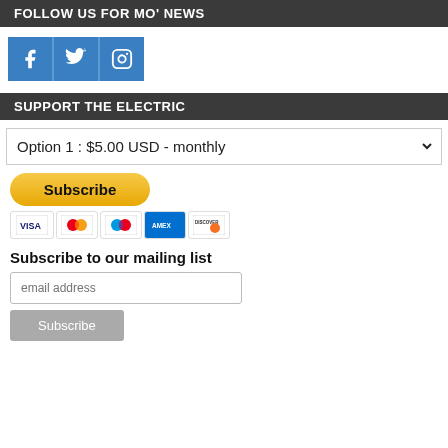FOLLOW US FOR MO' NEWS
[Figure (other): Three social media icon buttons: Facebook, Twitter, Instagram — blue square buttons]
SUPPORT THE ELECTRIC
[Figure (other): Dropdown selector showing 'Option 1 : $5.00 USD - monthly']
[Figure (other): PayPal Subscribe button with payment card icons: Visa, Mastercard, MC, Amex, Discover]
Subscribe to our mailing list
[Figure (other): Email address input field with placeholder 'email address' and a Subscribe button below]